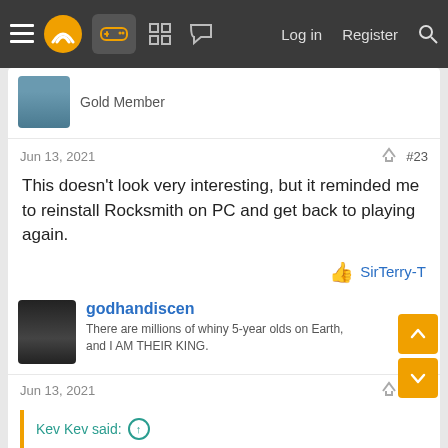≡ [logo] [gamepad icon] [grid icon] [chat icon]   Log in   Register   [search]
Gold Member
Jun 13, 2021   #23
This doesn't look very interesting, but it reminded me to reinstall Rocksmith on PC and get back to playing again.
SirTerry-T
godhandiscen
There are millions of whiny 5-year olds on Earth, and I AM THEIR KING.
Jun 13, 2021   #24
Kev Kev said:
that was the corniest trailer ive ever seen